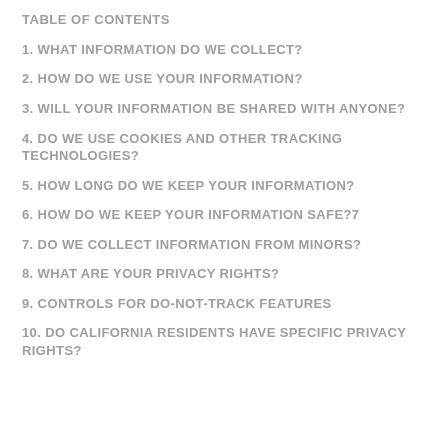TABLE OF CONTENTS
1. WHAT INFORMATION DO WE COLLECT?
2. HOW DO WE USE YOUR INFORMATION?
3. WILL YOUR INFORMATION BE SHARED WITH ANYONE?
4. DO WE USE COOKIES AND OTHER TRACKING TECHNOLOGIES?
5. HOW LONG DO WE KEEP YOUR INFORMATION?
6. HOW DO WE KEEP YOUR INFORMATION SAFE?7
7. DO WE COLLECT INFORMATION FROM MINORS?
8. WHAT ARE YOUR PRIVACY RIGHTS?
9. CONTROLS FOR DO-NOT-TRACK FEATURES
10. DO CALIFORNIA RESIDENTS HAVE SPECIFIC PRIVACY RIGHTS?